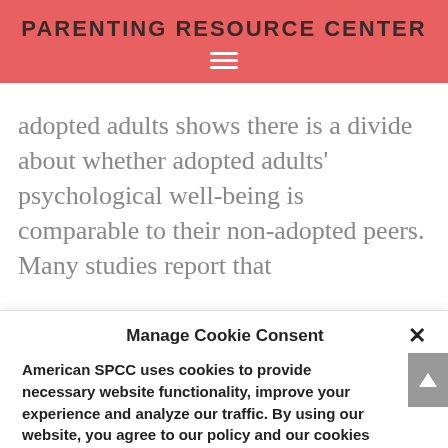PARENTING RESOURCE CENTER
adopted adults shows there is a divide about whether adopted adults' psychological well-being is comparable to their non-adopted peers. Many studies report that
Manage Cookie Consent
American SPCC uses cookies to provide necessary website functionality, improve your experience and analyze our traffic. By using our website, you agree to our policy and our cookies usage.
Accept
Cookie Policy   Privacy Policy